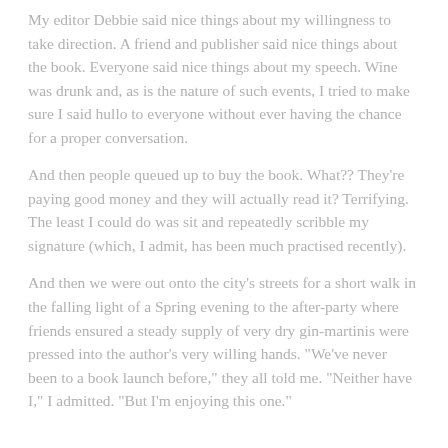My editor Debbie said nice things about my willingness to take direction. A friend and publisher said nice things about the book. Everyone said nice things about my speech. Wine was drunk and, as is the nature of such events, I tried to make sure I said hullo to everyone without ever having the chance for a proper conversation.
And then people queued up to buy the book. What?? They're paying good money and they will actually read it? Terrifying. The least I could do was sit and repeatedly scribble my signature (which, I admit, has been much practised recently).
And then we were out onto the city's streets for a short walk in the falling light of a Spring evening to the after-party where friends ensured a steady supply of very dry gin-martinis were pressed into the author's very willing hands. "We've never been to a book launch before," they all told me. "Neither have I," I admitted. "But I'm enjoying this one."